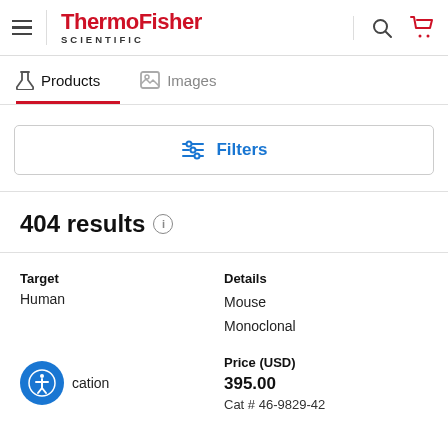[Figure (logo): ThermoFisher Scientific logo with hamburger menu, search icon, and cart icon in header]
ThermoFisher SCIENTIFIC
Products
Images
Filters
404 results
| Target | Details |
| --- | --- |
| Human | Mouse
Monoclonal |
Price (USD)
395.00
Cat # 46-9829-42